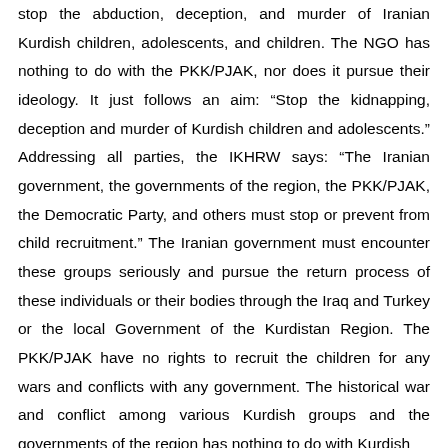stop the abduction, deception, and murder of Iranian Kurdish children, adolescents, and children. The NGO has nothing to do with the PKK/PJAK, nor does it pursue their ideology. It just follows an aim: “Stop the kidnapping, deception and murder of Kurdish children and adolescents.” Addressing all parties, the IKHRW says: “The Iranian government, the governments of the region, the PKK/PJAK, the Democratic Party, and others must stop or prevent from child recruitment.” The Iranian government must encounter these groups seriously and pursue the return process of these individuals or their bodies through the Iraq and Turkey or the local Government of the Kurdistan Region. The PKK/PJAK have no rights to recruit the children for any wars and conflicts with any government. The historical war and conflict among various Kurdish groups and the governments of the region has nothing to do with Kurdish